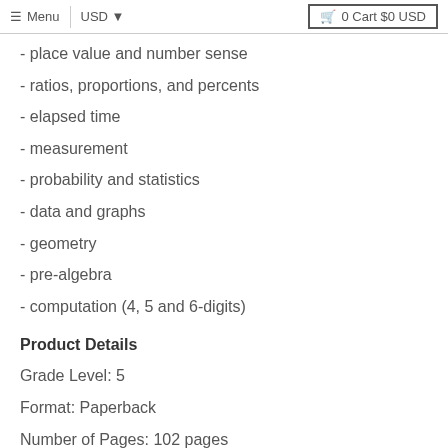≡ Menu | USD ▼  🛒 0 Cart $0 USD
- place value and number sense
- ratios, proportions, and percents
- elapsed time
- measurement
- probability and statistics
- data and graphs
- geometry
- pre-algebra
- computation (4, 5 and 6-digits)
Product Details
Grade Level: 5
Format: Paperback
Number of Pages: 102 pages
Book Dimensions: 8.5 x 11 inches